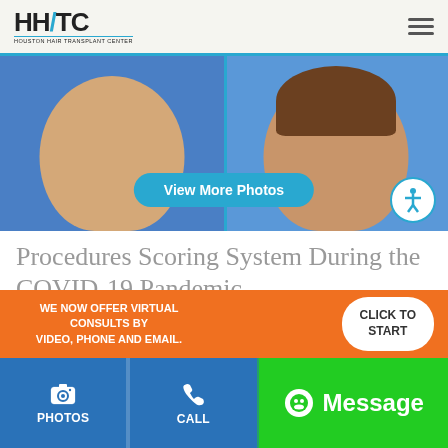HHTC — Houston Hair Transplant Center
[Figure (photo): Before and after hair transplant photos side by side, blue background, with 'View More Photos' teal button overlay and accessibility icon]
Procedures Scoring System During the COVID-19 Pandemic
The Journal of the American College of Surgeons has produced a scoring method for balancing a medical
WE NOW OFFER VIRTUAL CONSULTS BY VIDEO, PHONE AND EMAIL.
CLICK TO START
PHOTOS
CALL
Message